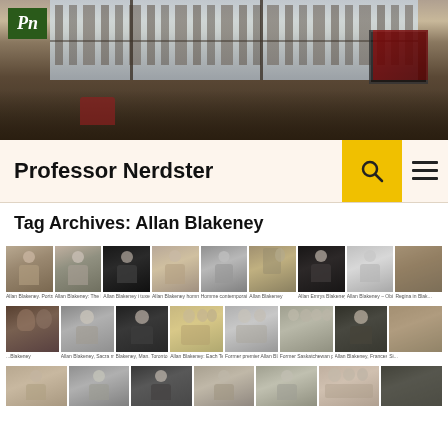[Figure (photo): Website banner showing an office interior with city skyline view through large windows, dark moody lighting]
Professor Nerdster
Tag Archives: Allan Blakeney
[Figure (photo): Grid of thumbnail photos related to Allan Blakeney showing portraits, historical photos, and group photos across three rows]